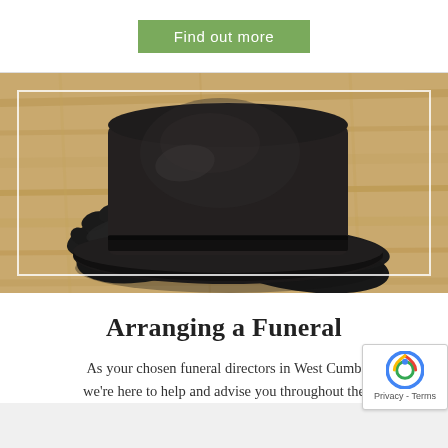Find out more
[Figure (photo): A black bowler hat resting on black leather gloves, placed on a wooden surface. The photo has a white inner border rectangle overlay.]
Arranging a Funeral
As your chosen funeral directors in West Cumb... we're here to help and advise you throughout the